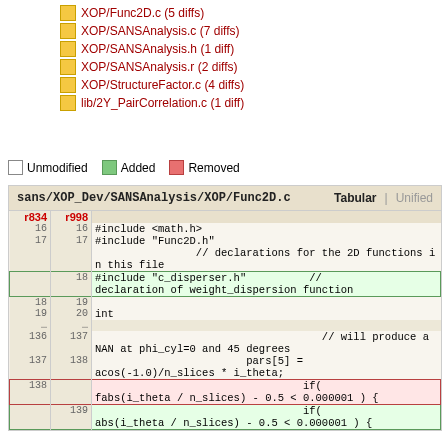XOP/Func2D.c (5 diffs)
XOP/SANSAnalysis.c (7 diffs)
XOP/SANSAnalysis.h (1 diff)
XOP/SANSAnalysis.r (2 diffs)
XOP/StructureFactor.c (4 diffs)
lib/2Y_PairCorrelation.c (1 diff)
Unmodified   Added   Removed
| r834 | r998 |  |
| --- | --- | --- |
| 16 | 16 | #include <math.h> |
| 17 | 17 | #include "Func2D.h"
                // declarations for the 2D functions in this file |
|  | 18 | #include "c_disperser.h"          //
declaration of weight_dispersion function |
| 18 | 19 |  |
| 19 | 20 | int |
| .... | .... |  |
| 136 | 137 |                                     // will produce a NAN at phi_cyl=0 and 45 degrees |
| 137 | 138 |                         pars[5] =
acos(-1.0)/n_slices * i_theta; |
| 138 |  |                                  if(
fabs(i_theta / n_slices) - 0.5 < 0.000001 ) { |
|  | 139 |                                  if(
abs(i_theta / n_slices) - 0.5 < 0.000001 ) { |